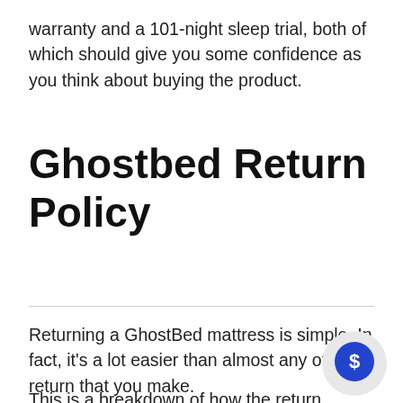warranty and a 101-night sleep trial, both of which should give you some confidence as you think about buying the product.
Ghostbed Return Policy
Returning a GhostBed mattress is simple. In fact, it's a lot easier than almost any other return that you make.
This is a breakdown of how the return